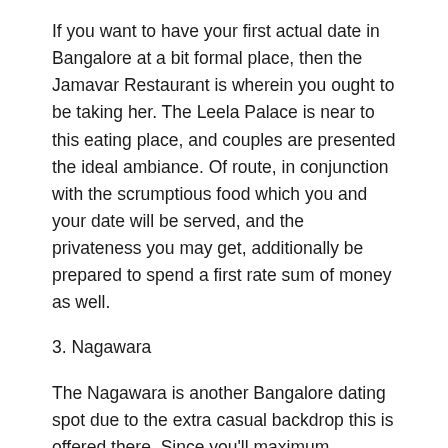If you want to have your first actual date in Bangalore at a bit formal place, then the Jamavar Restaurant is wherein you ought to be taking her. The Leela Palace is near to this eating place, and couples are presented the ideal ambiance. Of route, in conjunction with the scrumptious food which you and your date will be served, and the privateness you may get, additionally be prepared to spend a first rate sum of money as well.
3. Nagawara
The Nagawara is another Bangalore dating spot due to the extra casual backdrop this is offered there. Since you'll maximum probable be dating in Bangalore for the first time, taking walks inside the Lumbini Gardens and watching the Nagawara Lake is convenient way of learning every different. This is also a tremendous vacation spot for an early evening date due to the